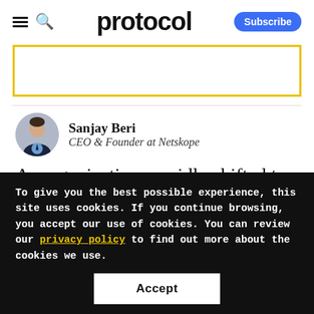protocol — Subscribe
[Figure (other): Yellow-bordered advertisement placeholder box]
Sanjay Beri — CEO & Founder at Netskope
As organizations rapidly shifted to a remote
To give you the best possible experience, this site uses cookies. If you continue browsing, you accept our use of cookies. You can review our privacy policy to find out more about the cookies we use.
Accept